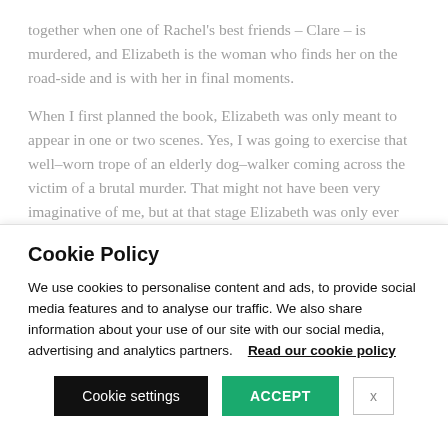together when one of Rachel's best friends – Clare – is murdered, and Elizabeth is the woman who finds her on the road-side and is with her in final moments.
When I first planned the book, Elizabeth was only meant to appear in one or two scenes. Yes, I was going to exercise that well–worn trope of an elderly dog–walker coming across the victim of a brutal murder. That might not have been very imaginative of me, but at that stage Elizabeth was only ever meant to be a character who was able to pass on the final
Cookie Policy
We use cookies to personalise content and ads, to provide social media features and to analyse our traffic. We also share information about your use of our site with our social media, advertising and analytics partners.    Read our cookie policy